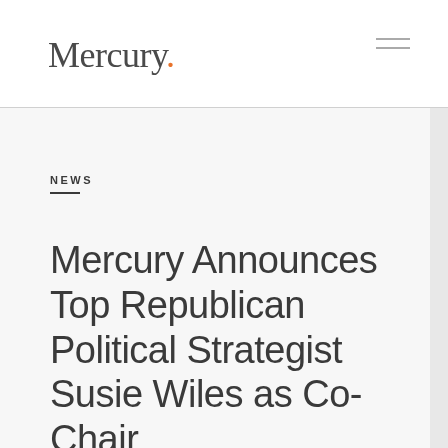Mercury.
NEWS
Mercury Announces Top Republican Political Strategist Susie Wiles as Co-Chair